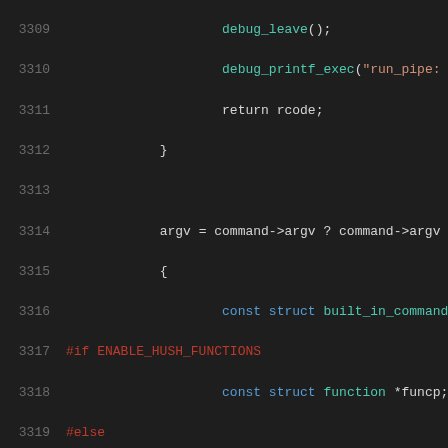[Figure (screenshot): Source code viewer showing C code lines 3309-3329 with syntax highlighting on dark background. Line numbers in gray on left, code with colored tokens (teal for types/functions, red for preprocessor directives and comments, white/gray for default text).]